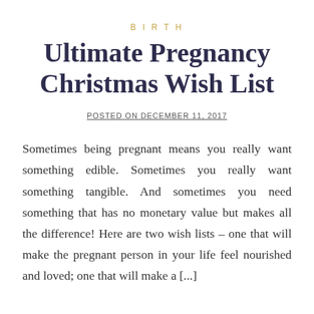BIRTH
Ultimate Pregnancy Christmas Wish List
POSTED ON DECEMBER 11, 2017
Sometimes being pregnant means you really want something edible. Sometimes you really want something tangible. And sometimes you need something that has no monetary value but makes all the difference! Here are two wish lists – one that will make the pregnant person in your life feel nourished and loved; one that will make a [...]